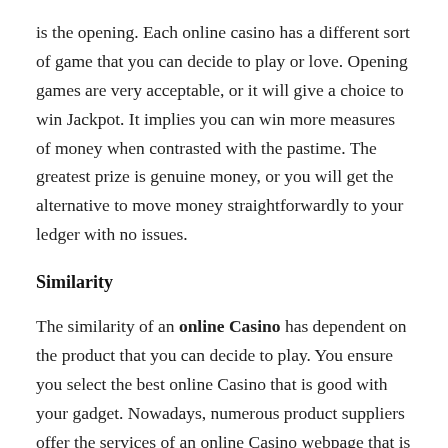is the opening. Each online casino has a different sort of game that you can decide to play or love. Opening games are very acceptable, or it will give a choice to win Jackpot. It implies you can win more measures of money when contrasted with the pastime. The greatest prize is genuine money, or you will get the alternative to move money straightforwardly to your ledger with no issues.
Similarity
The similarity of an online Casino has dependent on the product that you can decide to play. You ensure you select the best online Casino that is good with your gadget. Nowadays, numerous product suppliers offer the services of an online Casino webpage that is perfect with different sorts of advanced gadgets. Moreover, you need to remember whether it comes to pick the casino currently, but look at the product